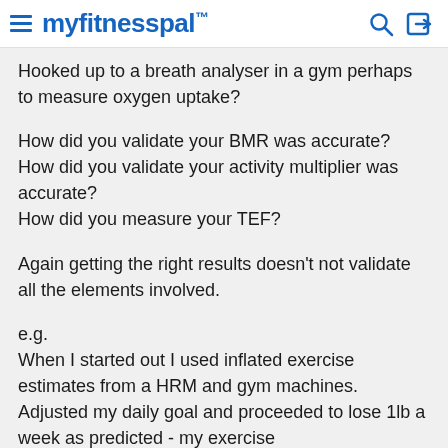myfitnesspal
Hooked up to a breath analyser in a gym perhaps to measure oxygen uptake?
How did you validate your BMR was accurate?
How did you validate your activity multiplier was accurate?
How did you measure your TEF?
Again getting the right results doesn't not validate all the elements involved.
e.g.
When I started out I used inflated exercise estimates from a HRM and gym machines. Adjusted my daily goal and proceeded to lose 1lb a week as predicted - my exercise